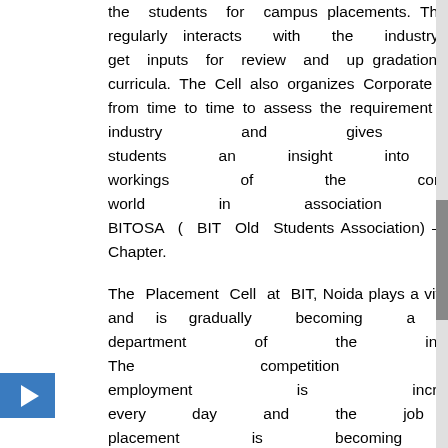the students for campus placements. The Cell regularly interacts with the industry to get inputs for review and up gradation of its curricula. The Cell also organizes Corporate Meets from time to time to assess the requirement of the industry and gives the students an insight into the workings of the corporate world in association with BITOSA ( BIT Old Students Association) – Delhi Chapter.
The Placement Cell at BIT, Noida plays a vital role and is gradually becoming a key department of the institute. The competition for employment is increasing every day and the job of placement is becoming a challenging one. The